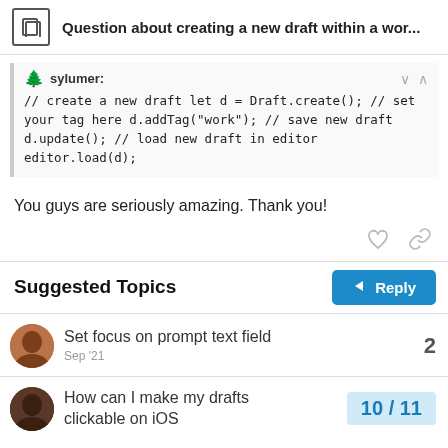Question about creating a new draft within a wor...
sylumer:
// create a new draft let d = Draft.create(); // set your tag here d.addTag("work"); // save new draft d.update(); // load new draft in editor editor.load(d);
You guys are seriously amazing. Thank you!
Suggested Topics
Set focus on prompt text field
2
Sep '21
How can I make my drafts clickable on iOS
10 / 11